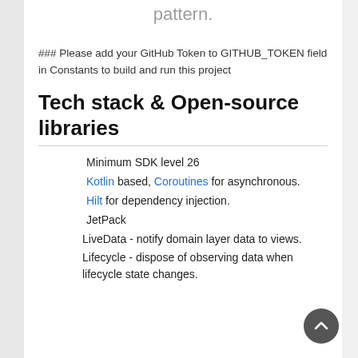pattern.
### Please add your GitHub Token to GITHUB_TOKEN field in Constants to build and run this project
Tech stack & Open-source libraries
Minimum SDK level 26
Kotlin based, Coroutines for asynchronous.
Hilt for dependency injection.
JetPack
LiveData - notify domain layer data to views.
Lifecycle - dispose of observing data when lifecycle state changes.